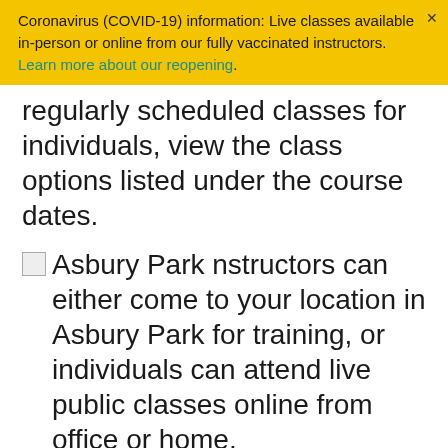Coronavirus (COVID-19) information: Live classes available in-person or online from our fully vaccinated instructors. Learn more about our reopening.
regularly scheduled classes for individuals, view the class options listed under the course dates.
Asbury Park nstructors can either come to your location in Asbury Park for training, or individuals can attend live public classes online from office or home.
Asbury Park nstructors can either come to your location in Asbury Park for training, or individuals can attend live public classes online from office or home.